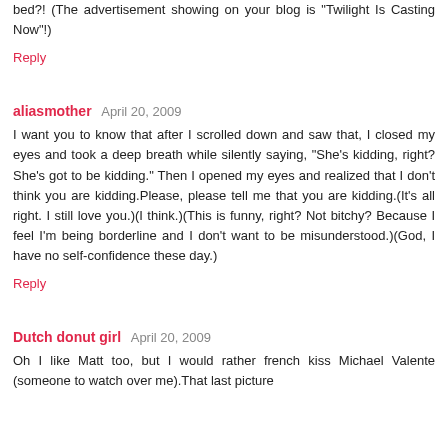bed?! (The advertisement showing on your blog is "Twilight Is Casting Now"!)
Reply
aliasmother  April 20, 2009
I want you to know that after I scrolled down and saw that, I closed my eyes and took a deep breath while silently saying, "She's kidding, right? She's got to be kidding." Then I opened my eyes and realized that I don't think you are kidding.Please, please tell me that you are kidding.(It's all right. I still love you.)(I think.)(This is funny, right? Not bitchy? Because I feel I'm being borderline and I don't want to be misunderstood.)(God, I have no self-confidence these day.)
Reply
Dutch donut girl  April 20, 2009
Oh I like Matt too, but I would rather french kiss Michael Valente (someone to watch over me).That last picture